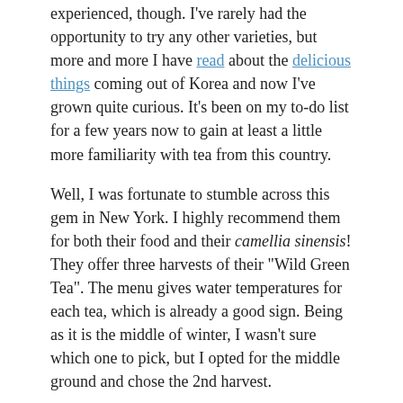experienced, though. I've rarely had the opportunity to try any other varieties, but more and more I have read about the delicious things coming out of Korea and now I've grown quite curious. It's been on my to-do list for a few years now to gain at least a little more familiarity with tea from this country.
Well, I was fortunate to stumble across this gem in New York. I highly recommend them for both their food and their camellia sinensis! They offer three harvests of their "Wild Green Tea". The menu gives water temperatures for each tea, which is already a good sign. Being as it is the middle of winter, I wasn't sure which one to pick, but I opted for the middle ground and chose the 2nd harvest.
Just as I had come to expect from my previous experiences, the ceramic strainer (I
[Figure (photo): Photo of a white ceramic teacup filled with light green tea, with a glass of water visible in the background, on a dark surface]